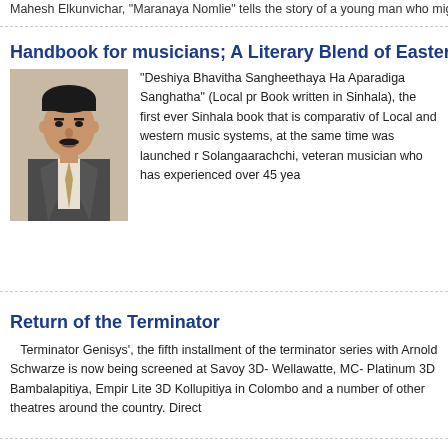Mahesh Elkunvichar, "Maranaya Nomlie" tells the story of a young man who migrates fro
Handbook for musicians; A Literary Blend of Eastern a
[Figure (photo): Portrait photo of a man in a suit with a mustache]
"Deshiya Bhavitha Sangheethaya Ha Aparadiga Sanghatha" (Local pr Book written in Sinhala), the first ever Sinhala book that is comparativ of Local and western music systems, at the same time was launched r Solangaarachchi, veteran musician who has experienced over 45 yea
Return of the Terminator
Terminator Genisys', the fifth installment of the terminator series with Arnold Schwarze is now being screened at Savoy 3D- Wellawatte, MC- Platinum 3D Bambalapitiya, Empir Lite 3D Kollupitiya in Colombo and a number of other theatres around the country. Direct